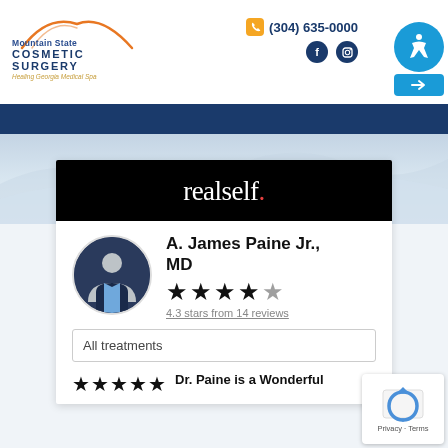[Figure (logo): Mountain State Cosmetic Surgery logo with mountain arc graphic]
(304) 635-0000
[Figure (screenshot): Accessibility button circle icon top right]
[Figure (screenshot): RealSelf profile card for A. James Paine Jr., MD showing 4.3 stars from 14 reviews, All treatments filter, and a 5-star review titled Dr. Paine is a Wonderful]
realself.
A. James Paine Jr., MD
4.3 stars from 14 reviews
All treatments
Dr. Paine is a Wonderful
[Figure (photo): Circular profile photo of Dr. A. James Paine Jr., MD]
[Figure (screenshot): reCAPTCHA Privacy - Terms overlay box bottom right]